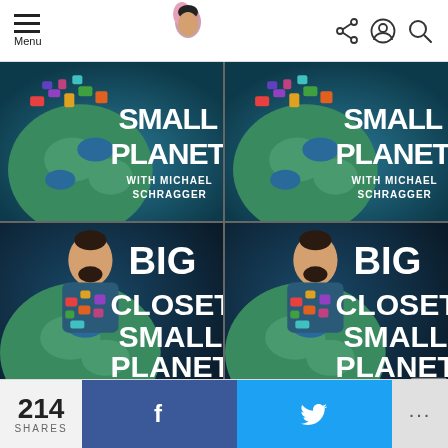Menu | Navigation | Share | Account | Search
[Figure (illustration): Four podcast cover art images in a 2x2 grid. Top two show 'Small Planet with Michael Schragger' - an illustrated globe with colorful items on top. Bottom two show 'Big Closets Small Planet with Michael Schragger' - an illustrated man covered in colorful fashion items with a globe background.]
214 SHARES
[Figure (other): Facebook share button with 'f' icon in blue]
[Figure (other): Twitter share button with bird icon in light blue]
[Figure (other): More options button with '...']